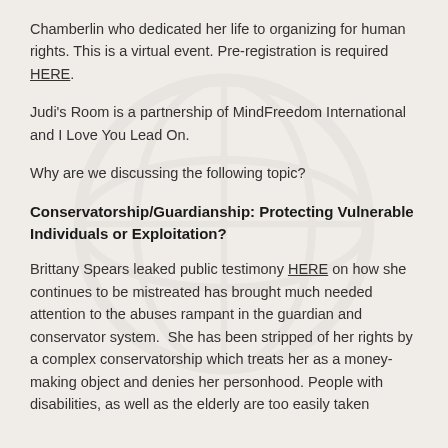Chamberlin who dedicated her life to organizing for human rights. This is a virtual event. Pre-registration is required HERE.
Judi's Room is a partnership of MindFreedom International and I Love You Lead On.
Why are we discussing the following topic?
Conservatorship/Guardianship: Protecting Vulnerable Individuals or Exploitation?
Brittany Spears leaked public testimony HERE on how she continues to be mistreated has brought much needed attention to the abuses rampant in the guardian and conservator system.  She has been stripped of her rights by a complex conservatorship which treats her as a money-making object and denies her personhood. People with disabilities, as well as the elderly are too easily taken